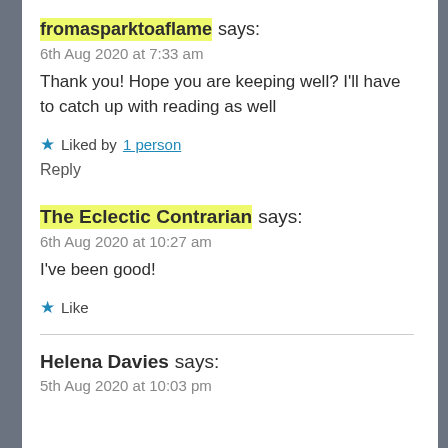fromasparktoaflame says:
6th Aug 2020 at 7:33 am
Thank you! Hope you are keeping well? I'll have to catch up with reading as well
★ Liked by 1 person
Reply
The Eclectic Contrarian says:
6th Aug 2020 at 10:27 am
I've been good!
★ Like
Helena Davies says:
5th Aug 2020 at 10:03 pm